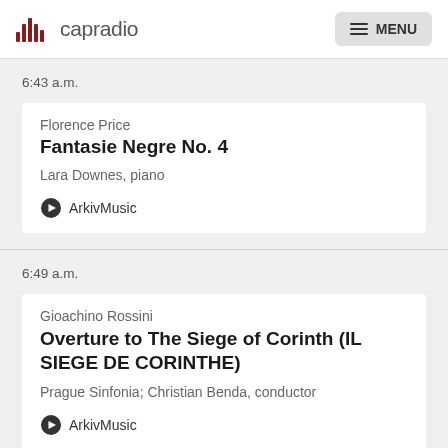capradio  MENU
6:43 a.m.
Florence Price
Fantasie Negre No. 4
Lara Downes, piano
ArkivMusic
6:49 a.m.
Gioachino Rossini
Overture to The Siege of Corinth (IL SIEGE DE CORINTHE)
Prague Sinfonia; Christian Benda, conductor
ArkivMusic